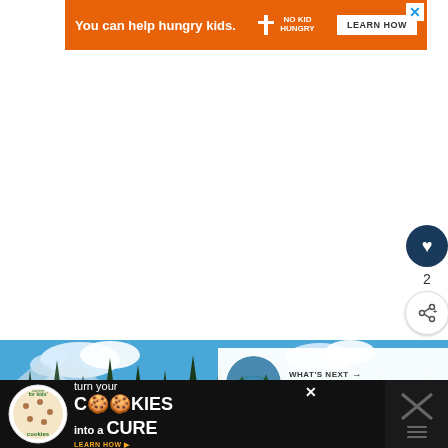[Figure (infographic): Orange ad banner: 'You can help hungry kids.' with No Kid Hungry logo and LEARN HOW button]
[Figure (other): White empty content area in the middle of the page]
[Figure (other): Dark blue circular heart/like button with count of 2 and share button]
[Figure (photo): Forest scene with tall evergreen trees against blue sky with clouds]
[Figure (infographic): What's Next overlay showing Arnica Lake Trail in Banff with thumbnail]
[Figure (infographic): Bottom ad: Cookies for Kids Cancer - turn your cookies into a cure]